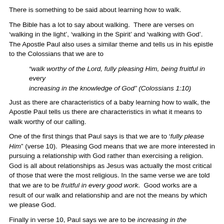There is something to be said about learning how to walk.
The Bible has a lot to say about walking.  There are verses on 'walking in the light', 'walking in the Spirit' and 'walking with God'.   The Apostle Paul also uses a similar theme and tells us in his epistle to the Colossians that we are to
“walk worthy of the Lord, fully pleasing Him, being fruitful in every good work and increasing in the knowledge of God” (Colossians 1:10)
Just as there are characteristics of a baby learning how to walk, the Apostle Paul tells us there are characteristics in what it means to walk worthy of our calling.
One of the first things that Paul says is that we are to ‘fully please Him” (verse 10).  Pleasing God means that we are more interested in pursuing a relationship with God rather than exercising a religion.  God is all about relationships as Jesus was actually the most critical of those that were the most religious.  In the same verse we are told that we are to be fruitful in every good work.  Good works are a result of our walk and relationship and are not the means by which we please God.
Finally in verse 10, Paul says we are to be increasing in the knowledge of God.   Proverbs 1:7 says that the Fear (a healthy respect and reverence) of the Lord is the beginning of knowledge.   When we know God, we naturally want to serve and obey Him out of gratitude.
Next, in verse 11, we are given what I believe is the more difficult task.  This worthy walk is with “patience and longsuffering with